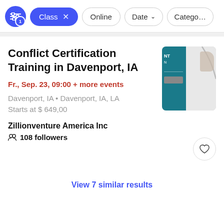Class  Online  Date  Category
Conflict Certification Training in Davenport, IA
Fr., Sep. 23, 09:00 + more events
Davenport, IA • Davenport, IA, LA
Starts at $ 649,00
Zillionventure America Inc
108 followers
[Figure (photo): Event thumbnail showing a person with teal/dark background branding panel]
View 7 similar results